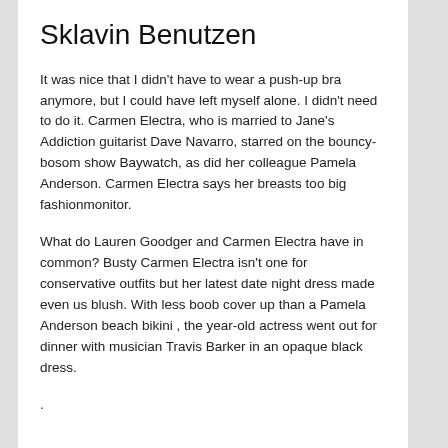Sklavin Benutzen
It was nice that I didn't have to wear a push-up bra anymore, but I could have left myself alone. I didn't need to do it. Carmen Electra, who is married to Jane's Addiction guitarist Dave Navarro, starred on the bouncy-bosom show Baywatch, as did her colleague Pamela Anderson. Carmen Electra says her breasts too big fashionmonitor.
What do Lauren Goodger and Carmen Electra have in common? Busty Carmen Electra isn't one for conservative outfits but her latest date night dress made even us blush. With less boob cover up than a Pamela Anderson beach bikini , the year-old actress went out for dinner with musician Travis Barker in an opaque black dress.
.